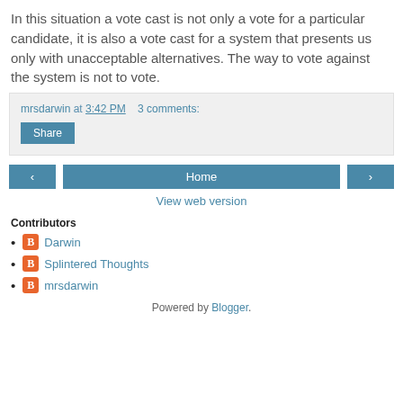In this situation a vote cast is not only a vote for a particular candidate, it is also a vote cast for a system that presents us only with unacceptable alternatives. The way to vote against the system is not to vote.
mrsdarwin at 3:42 PM    3 comments:
Share
‹   Home   ›
View web version
Contributors
Darwin
Splintered Thoughts
mrsdarwin
Powered by Blogger.